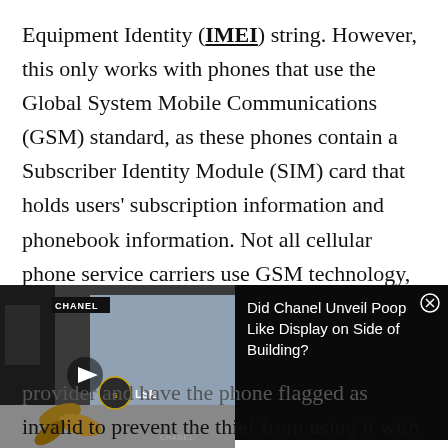Equipment Identity (IMEI) string. However, this only works with phones that use the Global System Mobile Communications (GSM) standard, as these phones contain a Subscriber Identity Module (SIM) card that holds users' subscription information and phonebook information. Not all cellular phone service carriers use GSM technology, so entering the * # 0 6 # sequence will not
[Figure (screenshot): Video thumbnail showing grubs/worms in foreground with Chanel store building in background, overlaid with a notification panel reading 'Did Chanel Unveil Poop Like Display on Side of Building?' with a close button, and a play button on the video.]
provider and have the phone flagged as invalid to prevent the thief from using it with